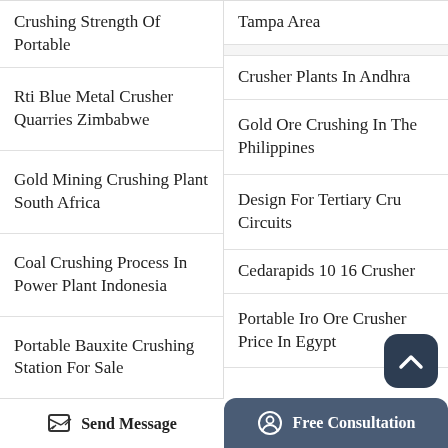Crushing Strength Of Portable
Tampa Area
Rti Blue Metal Crusher Quarries Zimbabwe
Crusher Plants In Andhra
Gold Mining Crushing Plant South Africa
Gold Ore Crushing In The Philippines
Coal Crushing Process In Power Plant Indonesia
Design For Tertiary Crushing Circuits
Portable Bauxite Crushing Station For Sale
Cedarapids 10 16 Crusher
Small Dry Ore Crusher (partial)
Portable Iro Ore Crusher Price In Egypt
Send Message
Free Consultation